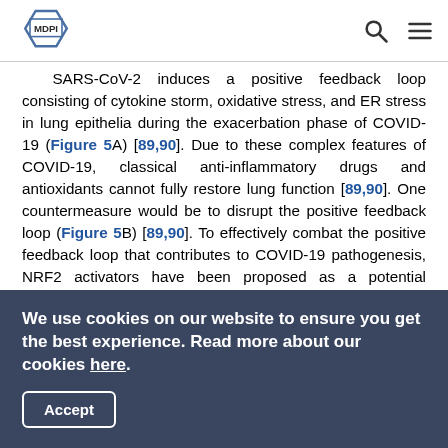MDPI
SARS-CoV-2 induces a positive feedback loop consisting of cytokine storm, oxidative stress, and ER stress in lung epithelia during the exacerbation phase of COVID-19 (Figure 5A) [89,90]. Due to these complex features of COVID-19, classical anti-inflammatory drugs and antioxidants cannot fully restore lung function [89,90]. One countermeasure would be to disrupt the positive feedback loop (Figure 5B) [89,90]. To effectively combat the positive feedback loop that contributes to COVID-19 pathogenesis, NRF2 activators have been proposed as a potential therapeutic [90,91]. Until now, however, most proposed therapeutic interventions have focused on overcoming each stress individually rather than the complex positive feedback
We use cookies on our website to ensure you get the best experience. Read more about our cookies here. Accept